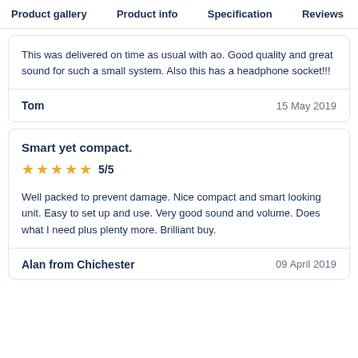Product gallery   Product info   Specification   Reviews
This was delivered on time as usual with ao. Good quality and great sound for such a small system. Also this has a headphone socket!!!
Tom   15 May 2019
Smart yet compact.
5/5
Well packed to prevent damage. Nice compact and smart looking unit. Easy to set up and use. Very good sound and volume. Does what I need plus plenty more. Brilliant buy.
Alan from Chichester   09 April 2019